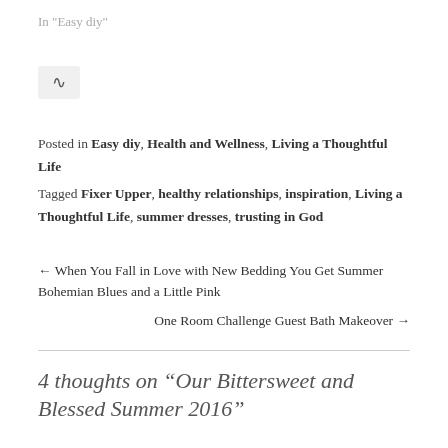In "Easy diy"
[Figure (other): Link/share icon button]
Posted in Easy diy, Health and Wellness, Living a Thoughtful Life
Tagged Fixer Upper, healthy relationships, inspiration, Living a Thoughtful Life, summer dresses, trusting in God
← When You Fall in Love with New Bedding You Get Summer Bohemian Blues and a Little Pink
One Room Challenge Guest Bath Makeover →
4 thoughts on "Our Bittersweet and Blessed Summer 2016"